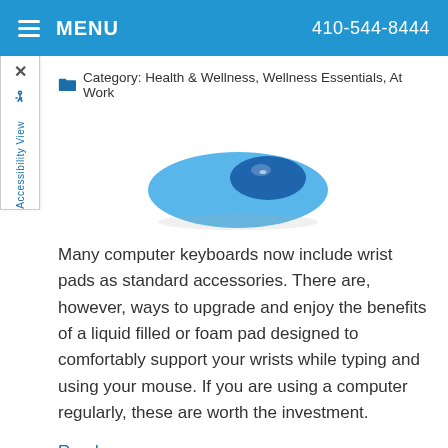MENU   410-544-8444
Category: Health & Wellness, Wellness Essentials, At Work
[Figure (photo): Blue gel wrist rest mouse pad product photo — a round light-blue mousepad with a smaller dark-blue gel wrist support cushion on top of it.]
Many computer keyboards now include wrist pads as standard accessories. There are, however, ways to upgrade and enjoy the benefits of a liquid filled or foam pad designed to comfortably support your wrists while typing and using your mouse. If you are using a computer regularly, these are worth the investment.
Read more